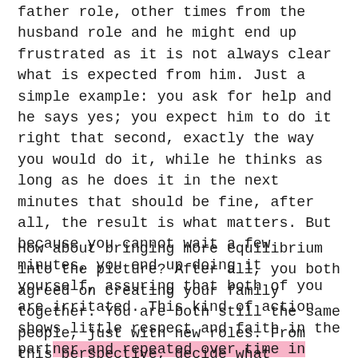father role, other times from the husband role and he might end up frustrated as it is not always clear what is expected from him. Just a simple example: you ask for help and he says yes; you expect him to do it right that second, exactly the way you would do it, while he thinks as long as he does it in the next minutes that should be fine, after all, the result is what matters. But because you cannot wait a few minutes, you end up doing it yourself, assuring that both of you are irritated. This kind of action shows little respect and faith in the partner and repeated over time in various forms undermines the relationship.
How about bringing more equilibrium into the picture? After all, you both agreed on creating your family together. You are both still the same people, just with new roles. From this perspective, decide what stereotypes help you,